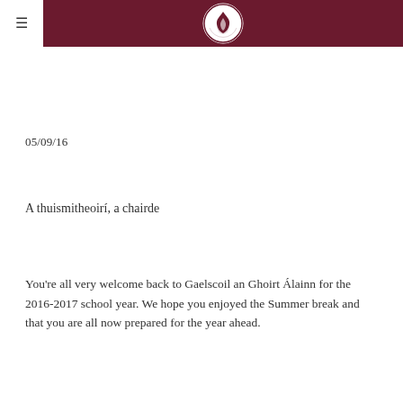05/09/16
A thuismitheoirí, a chairde
You're all very welcome back to Gaelscoil an Ghoirt Álainn for the 2016-2017 school year. We hope you enjoyed the Summer break and that you are all now prepared for the year ahead.